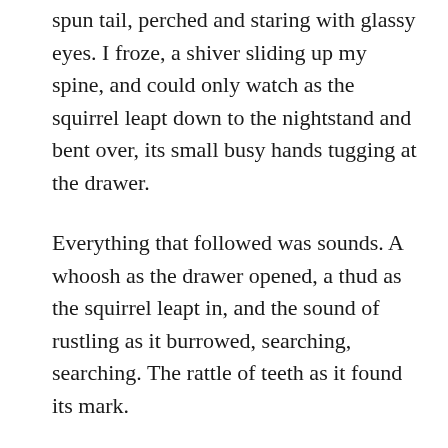spun tail, perched and staring with glassy eyes. I froze, a shiver sliding up my spine, and could only watch as the squirrel leapt down to the nightstand and bent over, its small busy hands tugging at the drawer.
Everything that followed was sounds. A whoosh as the drawer opened, a thud as the squirrel leapt in, and the sound of rustling as it burrowed, searching, searching. The rattle of teeth as it found its mark.
It lifted the jar and leapt out of the drawer holding it, though by all odds it shouldn't have been strong enough to do so. And it shook the jar some more, scampering back to the